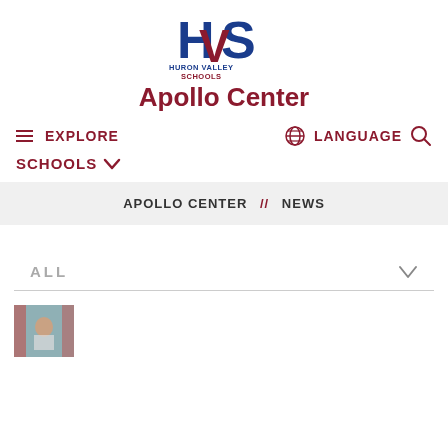[Figure (logo): Huron Valley Schools logo with HVS initials in blue and red, text HURON VALLEY SCHOOLS below]
Apollo Center
EXPLORE
LANGUAGE
SCHOOLS
APOLLO CENTER // NEWS
ALL
[Figure (photo): Small thumbnail image showing a child in a doorway]